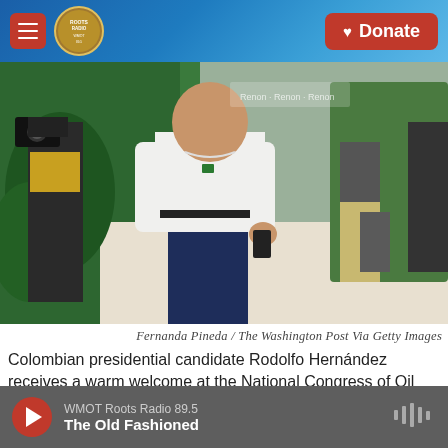WMOT Roots Radio — Navigation header with Donate button
[Figure (photo): Colombian presidential candidate Rodolfo Hernández in a white Lacoste polo shirt and navy trousers, receiving a warm welcome at a congress event. A cameraman is visible to the left, and another person in khaki pants is in the background on the right, with green tropical-themed backdrop decorations.]
Fernanda Pineda / The Washington Post Via Getty Images
Colombian presidential candidate Rodolfo Hernández receives a warm welcome at the National Congress of Oil Palm Growers in Bucaramanga, Colombia, on June 3.
WMOT Roots Radio 89.5 — The Old Fashioned